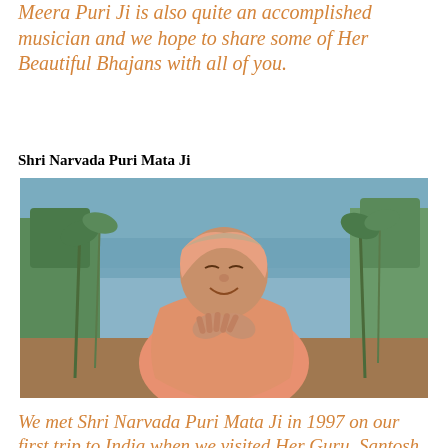Meera Puri Ji is also quite an accomplished musician and we hope to share some of Her Beautiful Bhajans with all of you.
Shri Narvada Puri Mata Ji
[Figure (photo): Elderly woman in pink/orange shawl with tilak on forehead, smiling with hands in prayer position, seated outdoors near water and greenery.]
We met Shri Narvada Puri Mata Ji in 1997 on our first trip to India when we visited Her Guru, Santosh Puri Ji and their ashram. She arrived in India in the early 70s at just